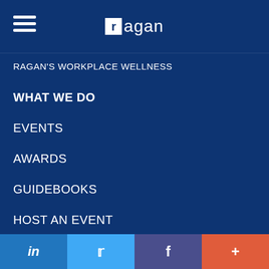ragan
RAGAN'S WORKPLACE WELLNESS
WHAT WE DO
EVENTS
AWARDS
GUIDEBOOKS
HOST AN EVENT
COMMUNICATIONS WEEK LICENSING
CONSULTING
JOB BOARD
LinkedIn | Twitter | Facebook | More